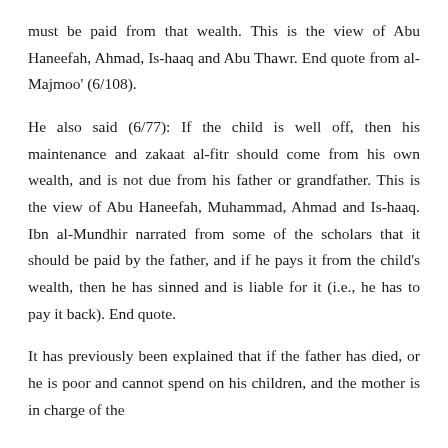must be paid from that wealth. This is the view of Abu Haneefah, Ahmad, Is-haaq and Abu Thawr. End quote from al-Majmoo' (6/108).
He also said (6/77): If the child is well off, then his maintenance and zakaat al-fitr should come from his own wealth, and is not due from his father or grandfather. This is the view of Abu Haneefah, Muhammad, Ahmad and Is-haaq. Ibn al-Mundhir narrated from some of the scholars that it should be paid by the father, and if he pays it from the child's wealth, then he has sinned and is liable for it (i.e., he has to pay it back). End quote.
It has previously been explained that if the father has died, or he is poor and cannot spend on his children, and the mother is in charge of the